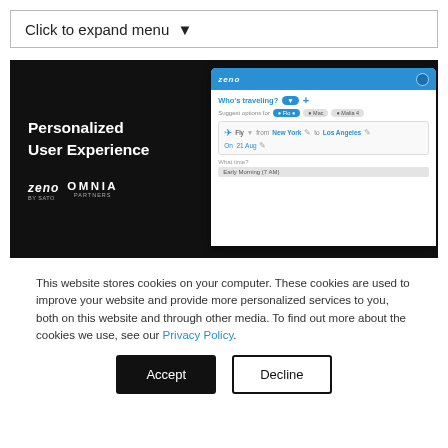Click to expand menu ▼
[Figure (screenshot): Screenshot of a Zeno by SATO & OMNIA Partners web application showing a 'Personalized User Experience' promotional panel on the left and a travel booking UI on the right with fields for 'Who's traveling?', suggested options, flight search from New York to Los Angeles on 21 Aug, and Early Morning (7 AM) result.]
This website stores cookies on your computer. These cookies are used to improve your website and provide more personalized services to you, both on this website and through other media. To find out more about the cookies we use, see our Privacy Policy.
Accept
Decline